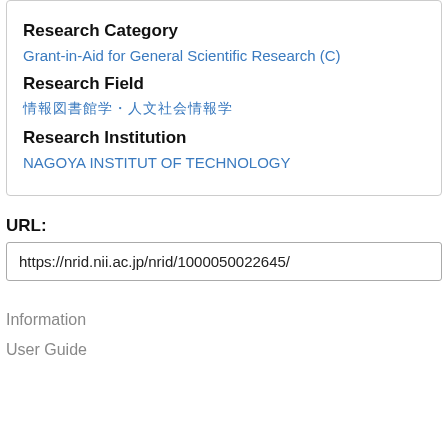Research Category
Grant-in-Aid for General Scientific Research (C)
Research Field
情報图书馆学·人文社会情報学
Research Institution
NAGOYA INSTITUT OF TECHNOLOGY
URL:
https://nrid.nii.ac.jp/nrid/1000050022645/
Information
User Guide